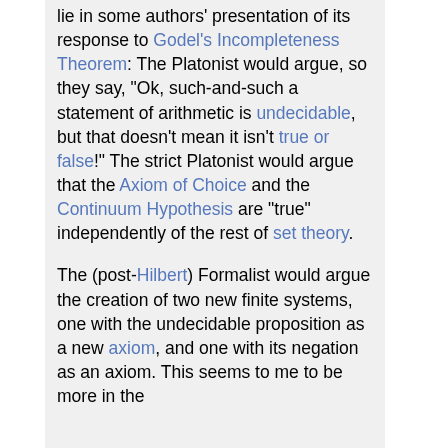lie in some authors' presentation of its response to Godel's Incompleteness Theorem: The Platonist would argue, so they say, "Ok, such-and-such a statement of arithmetic is undecidable, but that doesn't mean it isn't true or false!" The strict Platonist would argue that the Axiom of Choice and the Continuum Hypothesis are "true" independently of the rest of set theory.
The (post-Hilbert) Formalist would argue the creation of two new finite systems, one with the undecidable proposition as a new axiom, and one with its negation as an axiom. This seems to me to be more in the